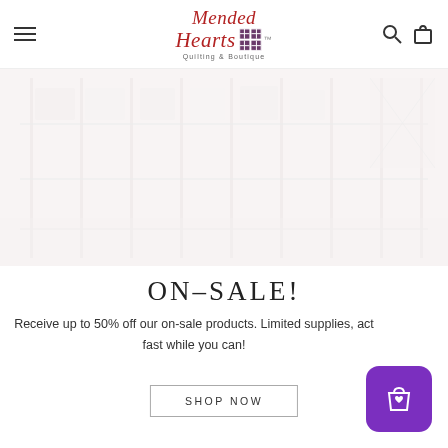Mended Hearts Quilting & Boutique
[Figure (photo): Faded interior shot of a quilt shop or boutique with shelves and fabric, very light/washed out appearance]
ON-SALE!
Receive up to 50% off our on-sale products. Limited supplies, act fast while you can!
SHOP NOW